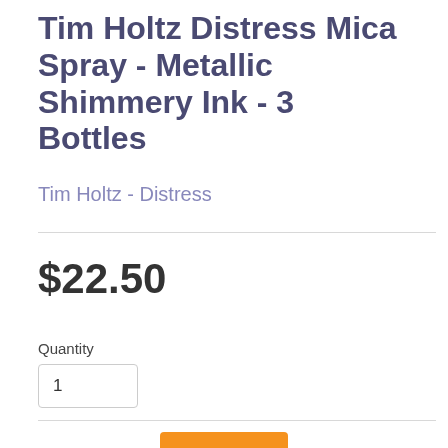Tim Holtz Distress Mica Spray - Metallic Shimmery Ink - 3 Bottles
Tim Holtz - Distress
$22.50
Quantity
1